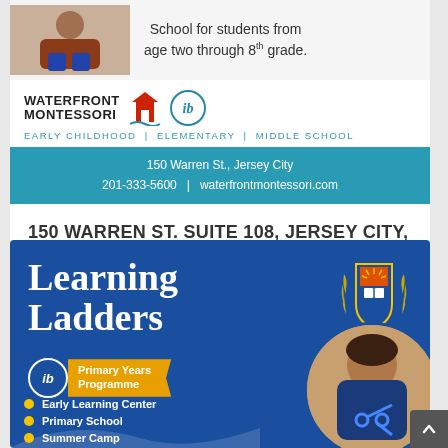School for students from age two through 8th grade.
[Figure (logo): Waterfront Montessori logo with school building icon and IB (International Baccalaureate) logo]
EARLY CHILDHOOD | ELEMENTARY | MIDDLE SCHOOL
150 Warren St., Jersey City
201-333-5600   |   waterfrontmontessori.com
150 WARREN ST. SUITE 108, JERSEY CITY, NJ 07302(201) 333-5600
[Figure (illustration): Learning Ladders advertisement on blue background featuring the text 'Learning Ladders', IB Primary Years Programme badge, a school crest/shield, a child using scissors, and bullet points: Early Learning Center, Primary School, Summer Camp]
Early Learning Center
Primary School
Summer Camp